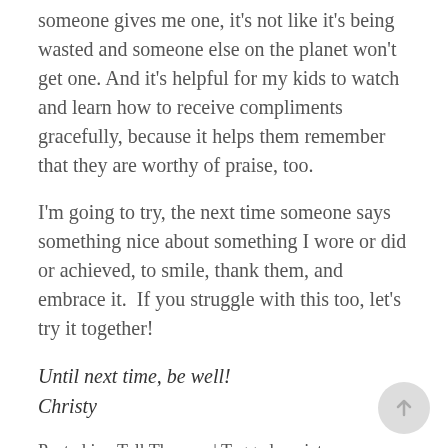someone gives me one, it's not like it's being wasted and someone else on the planet won't get one. And it's helpful for my kids to watch and learn how to receive compliments gracefully, because it helps them remember that they are worthy of praise, too.
I'm going to try, the next time someone says something nice about something I wore or did or achieved, to smile, thank them, and embrace it.  If you struggle with this too, let's try it together!
Until next time, be well!
Christy
Posted in eTalkTherapy | Tagged anxiety,